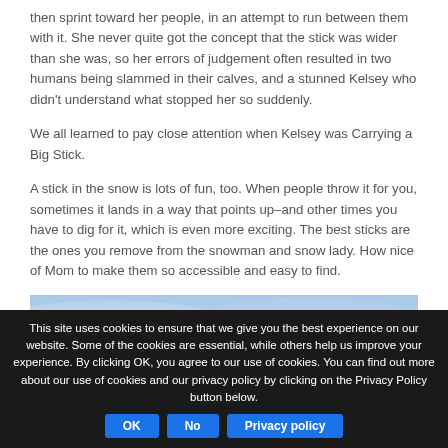then sprint toward her people, in an attempt to run between them with it. She never quite got the concept that the stick was wider than she was, so her errors of judgement often resulted in two humans being slammed in their calves, and a stunned Kelsey who didn't understand what stopped her so suddenly.

We all learned to pay close attention when Kelsey was Carrying a Big Stick.

A stick in the snow is lots of fun, too. When people throw it for you, sometimes it lands in a way that points up–and other times you have to dig for it, which is even more exciting. The best sticks are the ones you remove from the snowman and snow lady. How nice of Mom to make them so accessible and easy to find.
[Figure (photo): A snow scene photograph showing snowy ground with blue and white tones, appearing to show snow tracks or patterns.]
This site uses cookies to ensure that we give you the best experience on our website. Some of the cookies are essential, while others help us improve your experience. By clicking OK, you agree to our use of cookies. You can find out more about our use of cookies and our privacy policy by clicking on the Privacy Policy button below.